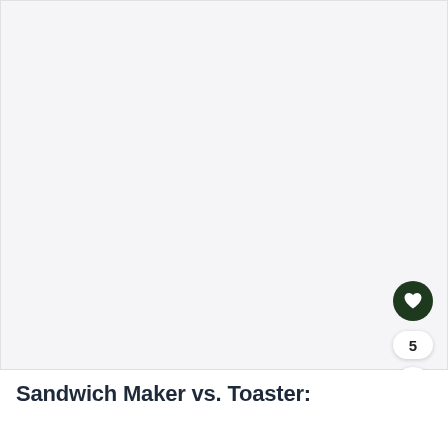[Figure (photo): Large light gray/white image placeholder area occupying the top portion of the page]
Sandwich Maker vs. Toaster: